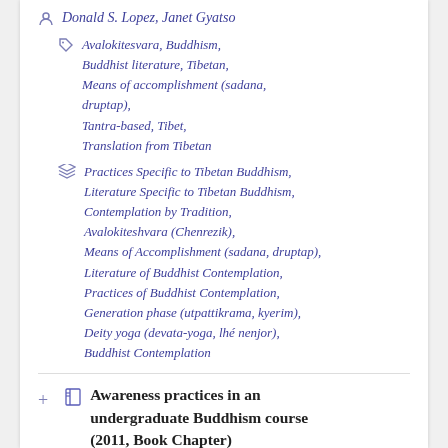Donald S. Lopez, Janet Gyatso
Avalokitesvara, Buddhism, Buddhist literature, Tibetan, Means of accomplishment (sadana, druptap), Tantra-based, Tibet, Translation from Tibetan
Practices Specific to Tibetan Buddhism, Literature Specific to Tibetan Buddhism, Contemplation by Tradition, Avalokiteshvara (Chenrezik), Means of Accomplishment (sadana, druptap), Literature of Buddhist Contemplation, Practices of Buddhist Contemplation, Generation phase (utpattikrama, kyerim), Deity yoga (devata-yoga, lhé nenjor), Buddhist Contemplation
Awareness practices in an undergraduate Buddhism course (2011, Book Chapter)
Judith Simmer Brown, Fran Grace